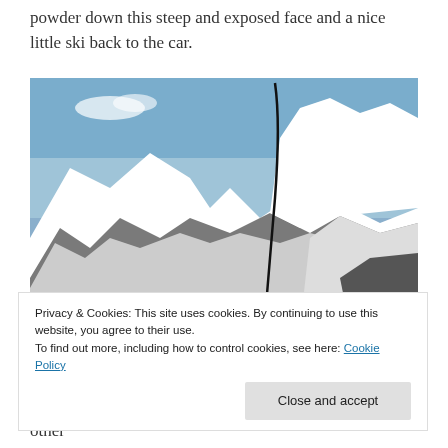powder down this steep and exposed face and a nice little ski back to the car.
[Figure (photo): Mountain face covered in snow with rocky outcroppings and a ski route line drawn in black descending a couloir. Blue sky above.]
Privacy & Cookies: This site uses cookies. By continuing to use this website, you agree to their use.
To find out more, including how to control cookies, see here: Cookie Policy
Close and accept
Tricot NE Couloir is located near Bionassay on the other